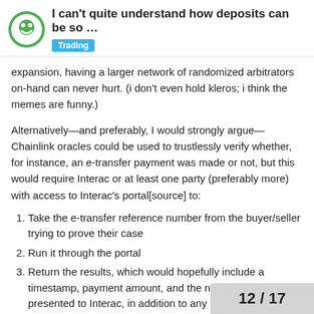I can't quite understand how deposits can be so … | Trading
expansion, having a larger network of randomized arbitrators on-hand can never hurt. (i don't even hold kleros; i think the memes are funny.)
Alternatively—and preferably, I would strongly argue—Chainlink oracles could be used to trustlessly verify whether, for instance, an e-transfer payment was made or not, but this would require Interac or at least one party (preferably more) with access to Interac's portal[source] to:
Take the e-transfer reference number from the buyer/seller trying to prove their case
Run it through the portal
Return the results, which would hopefully include a timestamp, payment amount, and the name that the buyer presented to Interac, in addition to any other helpful details that may or may not indicate foul play
This would help to bring Bisq one step closer to trustlessness, which is highly desirable for